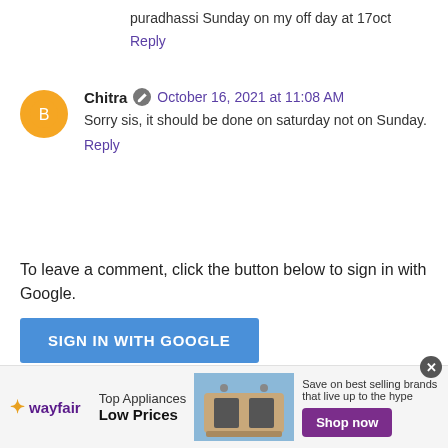puradhassi Sunday on my off day at 17oct
Reply
Chitra  October 16, 2021 at 11:08 AM
Sorry sis, it should be done on saturday not on Sunday.
Reply
To leave a comment, click the button below to sign in with Google.
SIGN IN WITH GOOGLE
Thanks for visiting this page. Feel free to leave your comments and feedback. Anonymous users, please avoid spamming my inbox with your ads. It
[Figure (other): Wayfair advertisement banner: Top Appliances Low Prices, Save on best selling brands that live up to the hype, Shop now button]